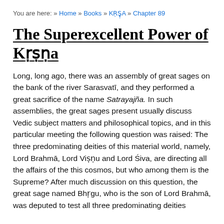You are here: » Home » Books » KṚṢṆA » Chapter 89
The Superexcellent Power of Kṛṣṇa
Long, long ago, there was an assembly of great sages on the bank of the river Sarasvatī, and they performed a great sacrifice of the name Satrayajña. In such assemblies, the great sages present usually discuss Vedic subject matters and philosophical topics, and in this particular meeting the following question was raised: The three predominating deities of this material world, namely, Lord Brahmā, Lord Viṣṇu and Lord Śiva, are directing all the affairs of the this cosmos, but who among them is the Supreme? After much discussion on this question, the great sage named Bhṛgu, who is the son of Lord Brahmā, was deputed to test all three predominating deities